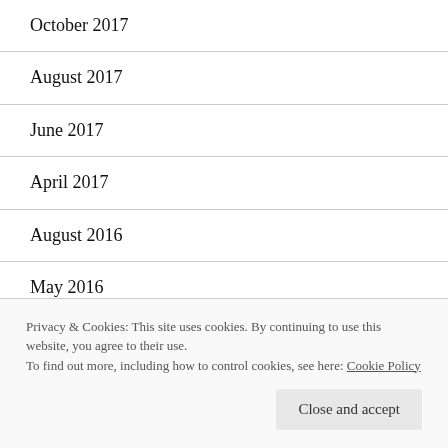October 2017
August 2017
June 2017
April 2017
August 2016
May 2016
January 2016
Privacy & Cookies: This site uses cookies. By continuing to use this website, you agree to their use.
To find out more, including how to control cookies, see here: Cookie Policy
August 2014